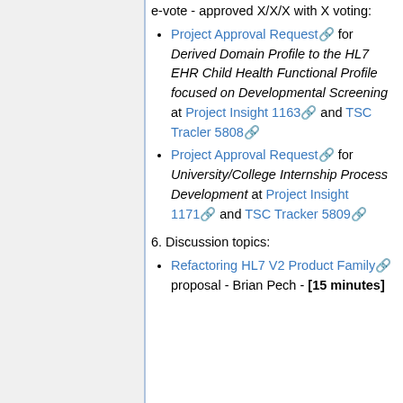e-vote - approved X/X/X with X voting:
Project Approval Request for Derived Domain Profile to the HL7 EHR Child Health Functional Profile focused on Developmental Screening at Project Insight 1163 and TSC Tracler 5808
Project Approval Request for University/College Internship Process Development at Project Insight 1171 and TSC Tracker 5809
6. Discussion topics:
Refactoring HL7 V2 Product Family proposal - Brian Pech - [15 minutes]